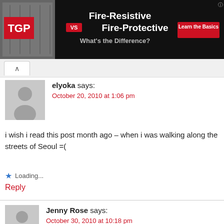[Figure (screenshot): Advertisement banner for TGP: Fire-Resistive vs Fire-Protective - What's the Difference? Learn the Basics]
elyoka says:
October 20, 2010 at 1:06 pm
i wish i read this post month ago – when i was walking along the streets of Seoul =(
Loading...
Reply
Jenny Rose says:
October 30, 2010 at 10:18 pm